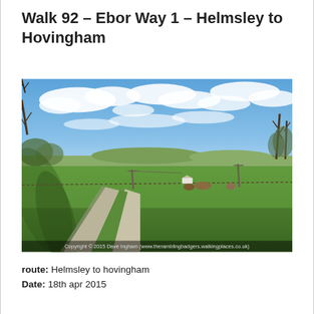Walk 92 – Ebor Way 1 – Helmsley to Hovingham
[Figure (photo): Outdoor photograph showing a wide gravel track/footpath leading through a large green field under a blue sky with scattered white clouds. Bare trees are visible on left and right edges. Utility poles stand in the field. A small white building is visible in the mid-distance. Copyright watermark reads: Copyright © 2015 Dave Ingham (www.theramblingbadgers.walkingplaces.co.uk)]
route: Helmsley to hovingham
Date: 18th apr 2015